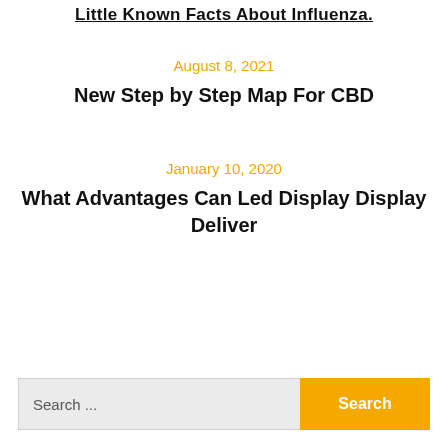Little Known Facts About Influenza.
August 8, 2021
New Step by Step Map For CBD
January 10, 2020
What Advantages Can Led Display Display Deliver